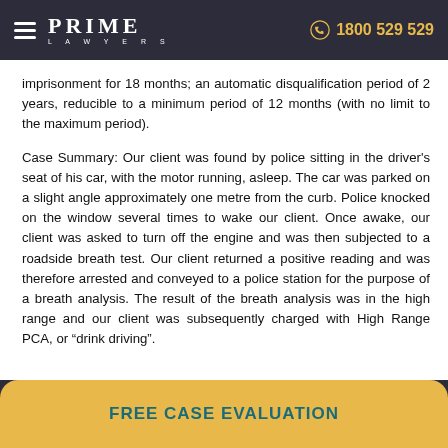PRIME LAWYERS | 1800 529 529
imprisonment for 18 months; an automatic disqualification period of 2 years, reducible to a minimum period of 12 months (with no limit to the maximum period).
Case Summary: Our client was found by police sitting in the driver's seat of his car, with the motor running, asleep. The car was parked on a slight angle approximately one metre from the curb. Police knocked on the window several times to wake our client. Once awake, our client was asked to turn off the engine and was then subjected to a roadside breath test. Our client returned a positive reading and was therefore arrested and conveyed to a police station for the purpose of a breath analysis. The result of the breath analysis was in the high range and our client was subsequently charged with High Range PCA, or “drink driving”.
FREE CASE EVALUATION